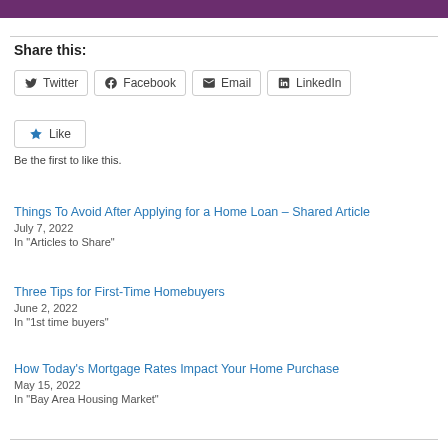Share this:
Twitter  Facebook  Email  LinkedIn
Like
Be the first to like this.
Things To Avoid After Applying for a Home Loan – Shared Article
July 7, 2022
In "Articles to Share"
Three Tips for First-Time Homebuyers
June 2, 2022
In "1st time buyers"
How Today's Mortgage Rates Impact Your Home Purchase
May 15, 2022
In "Bay Area Housing Market"